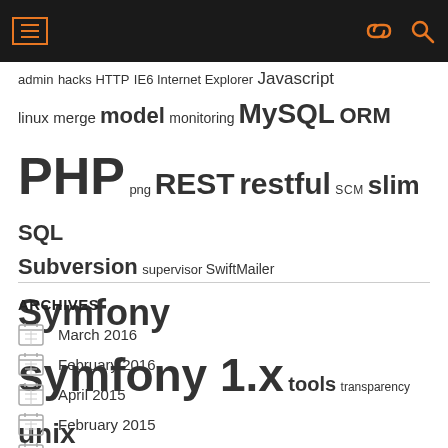Navigation header bar with hamburger menu, link icon, and search icon
admin hacks HTTP IE6 Internet Explorer Javascript linux merge model monitoring MySQL ORM PHP png REST restful SCM slim SQL Subversion supervisor SwiftMailer Symfony symfony 1.x tools transparency unix validator VCS view Web Development
ARCHIVES
March 2016
February 2016
April 2015
February 2015
January 2015
December 2014